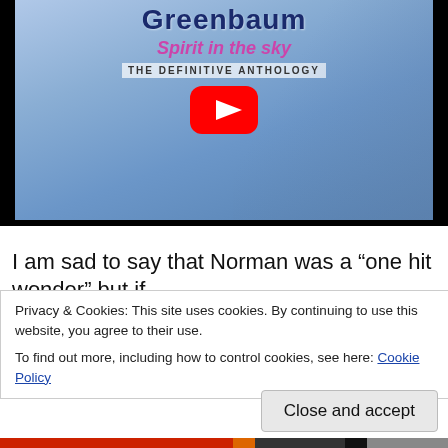[Figure (screenshot): YouTube video thumbnail showing a music album cover for 'Greenbaum Spirit in the sky - The Definitive Anthology' with a YouTube play button overlay on a blue sky background with a man's face]
I am sad to say that Norman was a “one hit wonder” but if
Privacy & Cookies: This site uses cookies. By continuing to use this website, you agree to their use.
To find out more, including how to control cookies, see here: Cookie Policy
Close and accept